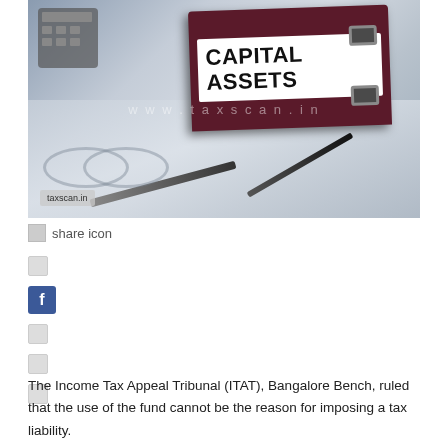[Figure (photo): Photo of a dark red binder labeled 'CAPITAL ASSETS' on a desk with glasses, pencils, and documents. Watermark 'www.taxscan.in' visible. 'taxscan.in' badge in lower left.]
share icon
The Income Tax Appeal Tribunal (ITAT), Bangalore Bench, ruled that the use of the fund cannot be the reason for imposing a tax liability.